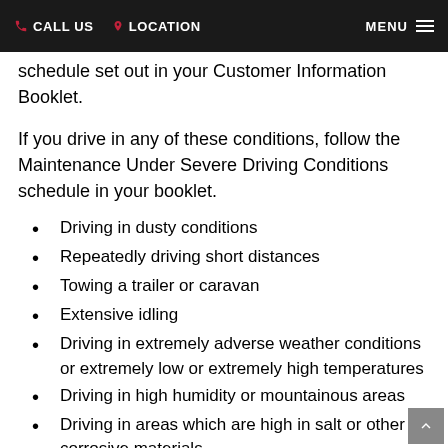CALL US  LOCATION  MENU
schedule set out in your Customer Information Booklet.
If you drive in any of these conditions, follow the Maintenance Under Severe Driving Conditions schedule in your booklet.
Driving in dusty conditions
Repeatedly driving short distances
Towing a trailer or caravan
Extensive idling
Driving in extremely adverse weather conditions or extremely low or extremely high temperatures
Driving in high humidity or mountainous areas
Driving in areas which are high in salt or other corrosive materials
Driving on rough and/or muddy roads